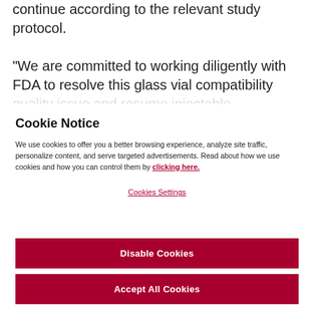continue according to the relevant study protocol.
“We are committed to working diligently with FDA to resolve this glass vial compatibility quality issue and resume injectable lenacapavir dosing in the affected
Cookie Notice
We use cookies to offer you a better browsing experience, analyze site traffic, personalize content, and serve targeted advertisements. Read about how we use cookies and how you can control them by clicking here.
Cookies Settings
Disable Cookies
Accept All Cookies